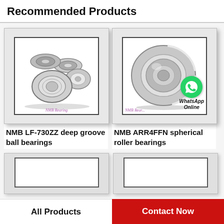Recommended Products
[Figure (photo): Multiple small NMB deep groove ball bearings grouped together, metallic silver, with NMB Bearing watermark]
NMB LF-730ZZ deep groove ball bearings
[Figure (photo): Single large NMB spherical roller bearing shown at angle, metallic silver, with WhatsApp Online overlay and NMB Bearing watermark]
NMB ARR4FFN spherical roller bearings
[Figure (photo): Partial view of another bearing product image (cropped, bottom of page)]
[Figure (photo): Partial view of another bearing product image (cropped, bottom of page, right column)]
All Products | Contact Now